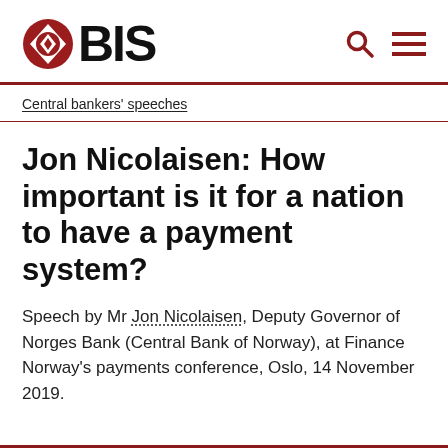[Figure (logo): BIS logo with red diamond/circle icon and bold BIS text, plus search and menu icons on the right]
Central bankers' speeches
Jon Nicolaisen: How important is it for a nation to have a payment system?
Speech by Mr Jon Nicolaisen, Deputy Governor of Norges Bank (Central Bank of Norway), at Finance Norway's payments conference, Oslo, 14 November 2019.